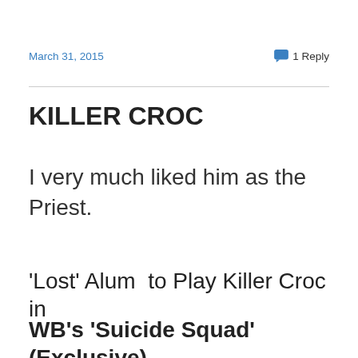March 31, 2015   1 Reply
KILLER CROC
I very much liked him as the Priest.
'Lost' Alum  to Play Killer Croc in
WB's 'Suicide Squad' (Exclusive)